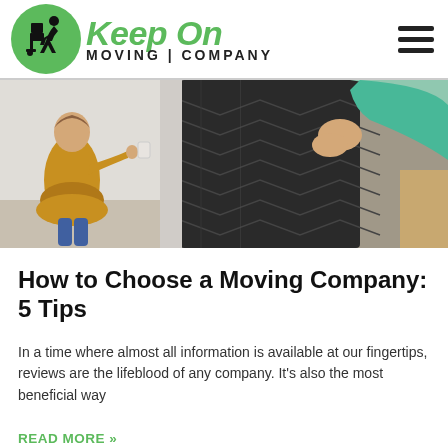[Figure (logo): Keep On Moving Company logo with green circle containing a silhouette of a person moving boxes, next to large green italic 'Keep On' text and bold 'MOVING COMPANY' text below]
[Figure (photo): Photo of a child in a yellow top helping with moving, and a person carrying a large dark quilted moving pad/mattress cover]
How to Choose a Moving Company: 5 Tips
In a time where almost all information is available at our fingertips, reviews are the lifeblood of any company. It's also the most beneficial way
READ MORE »